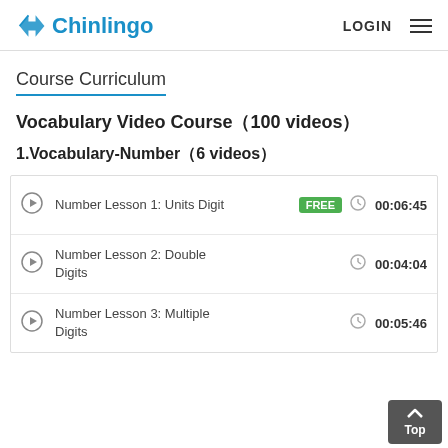Chinlingo | LOGIN
Course Curriculum
Vocabulary Video Course（100 videos）
1.Vocabulary-Number（6 videos）
|  | Lesson | Badge |  | Duration |
| --- | --- | --- | --- | --- |
| ▶ | Number Lesson 1: Units Digit | FREE | 🕐 | 00:06:45 |
| ▶ | Number Lesson 2: Double Digits |  | 🕐 | 00:04:04 |
| ▶ | Number Lesson 3: Multiple Digits |  | 🕐 | 00:05:46 |